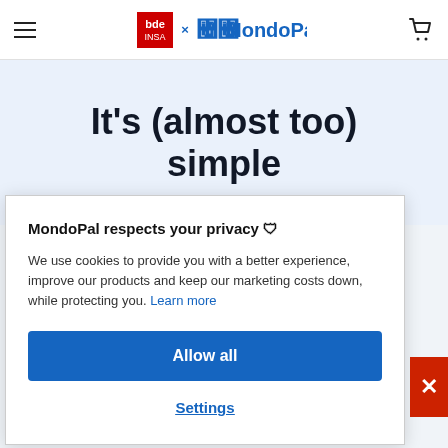bde × MondoPal.
It's (almost too) simple
MondoPal respects your privacy 🛡
We use cookies to provide you with a better experience, improve our products and keep our marketing costs down, while protecting you. Learn more
Allow all
Settings